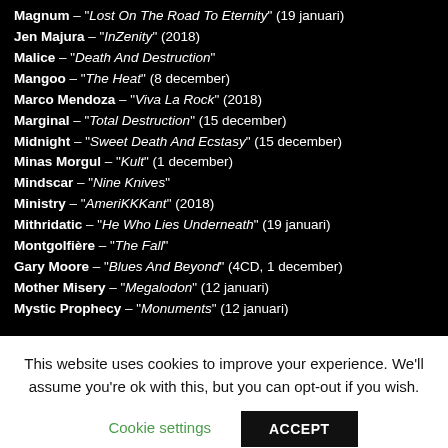Magnum – "Lost On The Road To Eternity" (19 januari)
Jen Majura – "InZenity" (2018)
Malice – "Death And Destruction"
Mangoo – "The Heat" (8 december)
Marco Mendoza – "Viva La Rock" (2018)
Marginal – "Total Destruction" (15 december)
Midnight – "Sweet Death And Ecstasy" (15 december)
Minas Morgul – "Kult" (1 december)
Mindscar – "Nine Knives"
Ministry – "AmeriKKKant" (2018)
Mithridatic – "He Who Lies Underneath" (19 januari)
Montgolfière – "The Fall"
Gary Moore – "Blues And Beyond" (4CD, 1 december)
Mother Misery – "Megalodon" (12 januari)
Mystic Prophecy – "Monuments" (12 januari)
This website uses cookies to improve your experience. We'll assume you're ok with this, but you can opt-out if you wish.
Cookie settings | ACCEPT